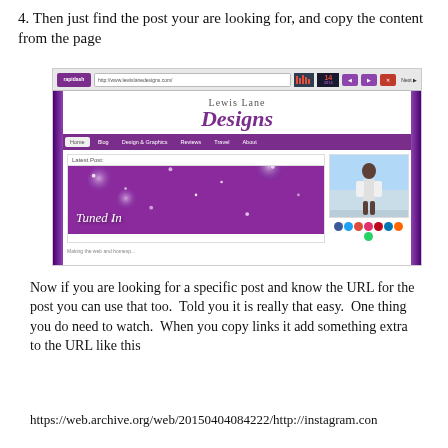4. Then just find the post your are looking for, and copy the content from the page
[Figure (screenshot): Screenshot of Lewis Lane Designs website showing the homepage with purple themed design, navigation bar, latest post section with 'Tuned In' post image, and a sidebar with a person photo and social media icons]
Now if you are looking for a specific post and know the URL for the post you can use that too.  Told you it is really that easy.  One thing you do need to watch.  When you copy links it add something extra to the URL like this
https://web.archive.org/web/20150404084222/http://instagram.con